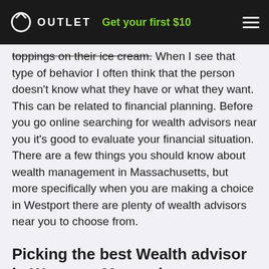OUTLET  Get your first $10
toppings on their ice cream. When I see that type of behavior I often think that the person doesn't know what they have or what they want. This can be related to financial planning. Before you go online searching for wealth advisors near you it's good to evaluate your financial situation. There are a few things you should know about wealth management in Massachusetts, but more specifically when you are making a choice in Westport there are plenty of wealth advisors near you to choose from.
Picking the best Wealth advisor in Westport Massachusetts